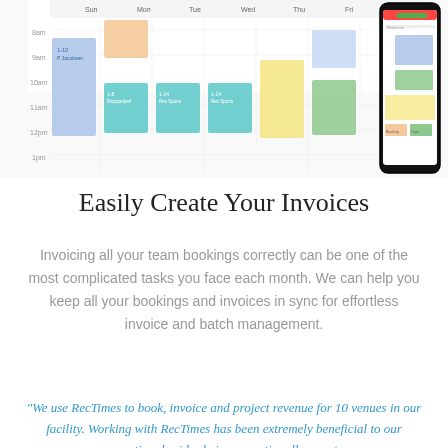[Figure (screenshot): A calendar/scheduling interface shown on desktop and on a mobile phone mockup, with colored blocks representing bookings across multiple days. Colors include blue, teal, orange, green, yellow, and red.]
Easily Create Your Invoices
Invoicing all your team bookings correctly can be one of the most complicated tasks you face each month. We can help you keep all your bookings and invoices in sync for effortless invoice and batch management.
“We use RecTimes to book, invoice and project revenue for 10 venues in our facility. Working with RecTimes has been extremely beneficial to our operation, besides being exceptionally easy to